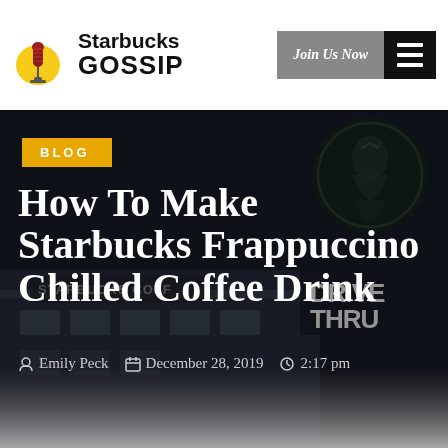Starbucks Gossip | Join Us Now | Menu
BLOG
How To Make Starbucks Frappuccino Chilled Coffee Drink
Emily Peck   December 28, 2019   2:17 pm